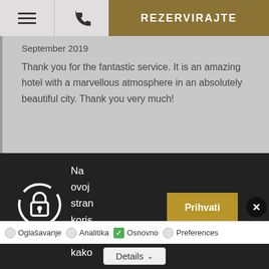REZERVIRAJTE
September 2019
Thank you for the fantastic service. It is an amazing hotel with a marvellous atmosphere in an absolutely beautiful city. Thank you very much!
[Figure (screenshot): Cookie consent overlay on dark background with a lock/shield icon, text 'Na ovoj stran koris kolač kako', a gold 'Prihvati' button, and a black X close button]
Oglašavanje
Analitika
Osnovno
Preferences
Details